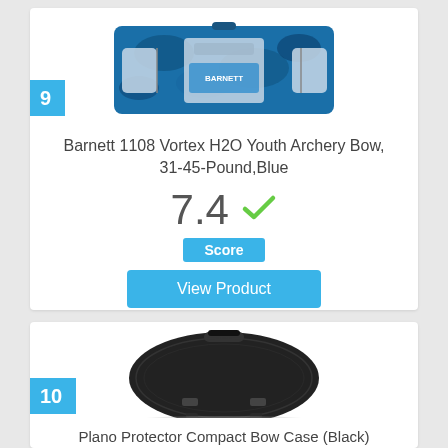9
[Figure (photo): Barnett 1108 Vortex H2O Youth Archery Bow in blue camo pattern, shown front-facing]
Barnett 1108 Vortex H2O Youth Archery Bow, 31-45-Pound,Blue
7.4
Score
View Product
10
[Figure (photo): Plano Protector Compact Bow Case in black, shown from above, semi-circular hard case]
Plano Protector Compact Bow Case (Black)
7.1